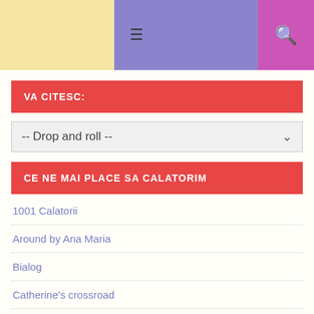≡ [menu icon] [search icon]
VA CITESC:
-- Drop and roll --
CE NE MAI PLACE SA CALATORIM
1001 Calatorii
Around by Ana Maria
Bialog
Catherine's crossroad
Enciclopedia calatorului independent
Ghiduri turistice